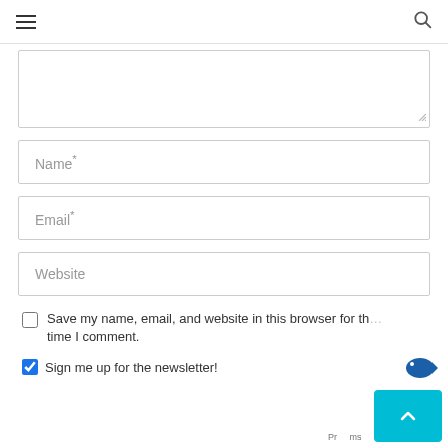≡   🔍
[Figure (screenshot): A text area input box (comment field), partially shown, with a resize handle at bottom-right corner]
Name*
Email*
Website
Save my name, email, and website in this browser for the next time I comment.
Sign me up for the newsletter!